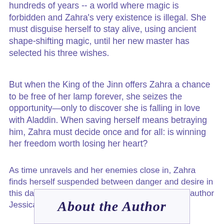hundreds of years -- a world where magic is forbidden and Zahra's very existence is illegal. She must disguise herself to stay alive, using ancient shape-shifting magic, until her new master has selected his three wishes.
But when the King of the Jinn offers Zahra a chance to be free of her lamp forever, she seizes the opportunity—only to discover she is falling in love with Aladdin. When saving herself means betraying him, Zahra must decide once and for all: is winning her freedom worth losing her heart?
As time unravels and her enemies close in, Zahra finds herself suspended between danger and desire in this dazzling retelling of Aladdin from acclaimed author Jessica Khoury.
About the Author